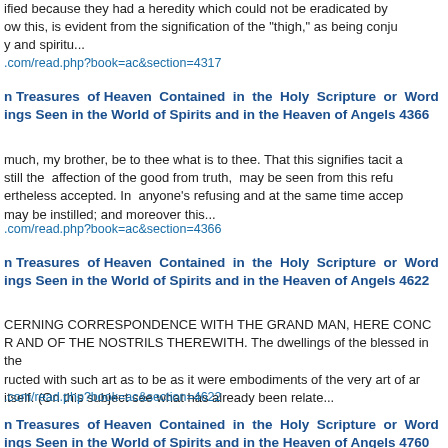ified because they had a heredity which could not be eradicated by ow this, is evident from the signification of the "thigh," as being conju y and spiritu...
.com/read.php?book=ac&section=4317
n Treasures of Heaven Contained in the Holy Scripture or Word ings Seen in the World of Spirits and in the Heaven of Angels 4366
much, my brother, be to thee what is to thee. That this signifies tacit a still the affection of the good from truth, may be seen from this refu ertheless accepted. In anyone's refusing and at the same time accep may be instilled; and moreover this...
.com/read.php?book=ac&section=4366
n Treasures of Heaven Contained in the Holy Scripture or Word ings Seen in the World of Spirits and in the Heaven of Angels 4622
CERNING CORRESPONDENCE WITH THE GRAND MAN, HERE CONC R AND OF THE NOSTRILS THEREWITH. The dwellings of the blessed in the ructed with such art as to be as it were embodiments of the very art of ar itself. (On this subject see what has already been relate...
.com/read.php?book=ac&section=4622
n Treasures of Heaven Contained in the Holy Scripture or Word ings Seen in the World of Spirits and in the Heaven of Angels 4760
eph into Egypt. That this signifies consultation from memory-knowled